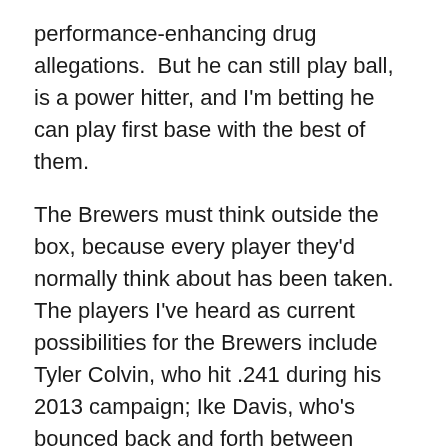performance-enhancing drug allegations.  But he can still play ball, is a power hitter, and I'm betting he can play first base with the best of them.
The Brewers must think outside the box, because every player they'd normally think about has been taken.  The players I've heard as current possibilities for the Brewers include Tyler Colvin, who hit .241 during his 2013 campaign; Ike Davis, who's bounced back and forth between Triple-A and the majors and had a low batting average of .205; and Carlos Pena, who hit all of .207 during 2013.
None of these players will make any difference to the Milwaukee Brewers — not one.
Whereas Ramirez is a career .312 hitter with 555 HRs,